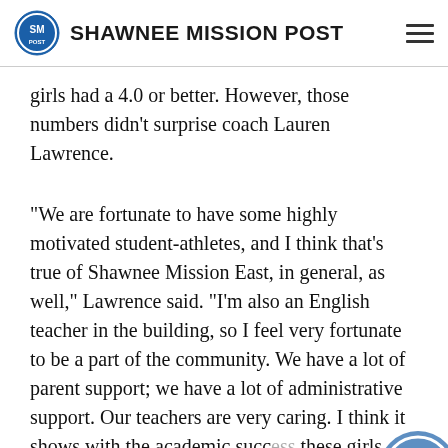SHAWNEE MISSION POST
girls had a 4.0 or better. However, those numbers didn’t surprise coach Lauren Lawrence.
“We are fortunate to have some highly motivated student-athletes, and I think that’s true of Shawnee Mission East, in general, as well,” Lawrence said. “I’m also an English teacher in the building, so I feel very fortunate to be a part of the community. We have a lot of parent support; we have a lot of administrative support. Our teachers are very caring. I think it shows with the academic success these girls have been having. I’m just